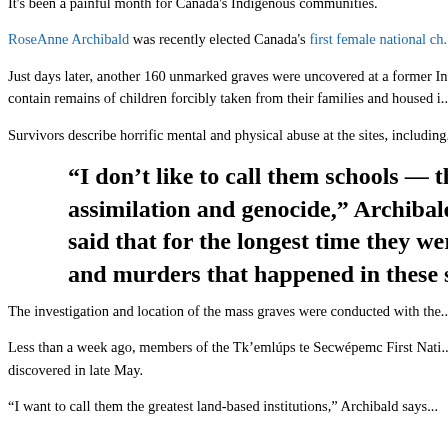It's been a painful month for Canada's Indigenous communities.
RoseAnne Archibald was recently elected Canada's first female national ch... leading more than 900,000 Indigenous people in 634 First Nations Commu...
Just days later, another 160 unmarked graves were uncovered at a former In... Southern Gulf Island off of British Columbia. This discovery adds to the m... contain remains of children forcibly taken from their families and housed i... 1880s to the 1990s.
Survivors describe horrific mental and physical abuse at the sites, including... cultural practices such as the use of their own languages.
“I don’t like to call them schools — they were i... assimilation and genocide,” Archibald says. “A... said that for the longest time they were told sto... and murders that happened in these schools.”
The investigation and location of the mass graves were conducted with the... technology.
Less than a week ago, members of the Tk’emlúps te Secwépemc First Nati... findings at the Kamloops Residential School in British Columbia where the... discovered in late May.
“I want to call them the greatest land-based institutions,” Archibald says...